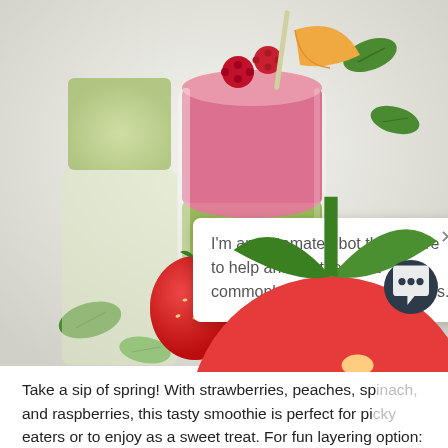[Figure (photo): Photo of layered green and pink smoothies in glass cups with raspberries and peach slices on top, surrounded by fresh strawberries and spinach leaves on a white surface. A chat popup overlay appears in the lower right of the photo with text: I'm an automated bot that's here to help answer the most commonly asked berry questions. A close X button and a small strawberry icon appear on the popup. A dark circular chat icon is visible in the lower right corner.]
Take a sip of spring! With strawberries, peaches, sp and raspberries, this tasty smoothie is perfect for pi eaters or to enjoy as a sweet treat. For fun layering option: